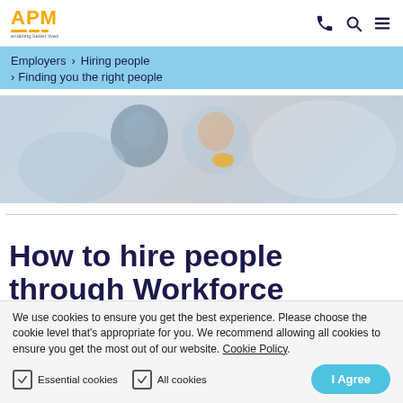APM - enabling better lives
Employers > Hiring people > Finding you the right people
[Figure (photo): Two people sitting together, one appearing to be a worker in a blue shirt with an orange accessory, the other in darker clothing, in a meeting or consultation setting.]
How to hire people through Workforce
We use cookies to ensure you get the best experience. Please choose the cookie level that's appropriate for you. We recommend allowing all cookies to ensure you get the most out of our website. Cookie Policy.
Essential cookies   All cookies   I Agree